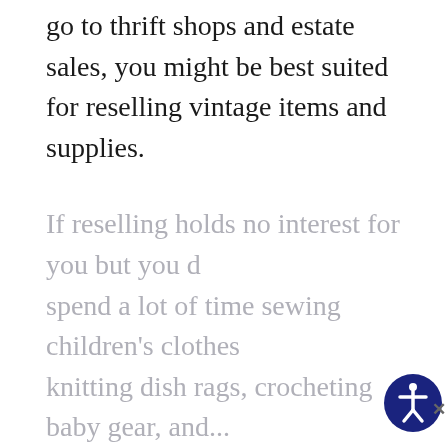go to thrift shops and estate sales, you might be best suited for reselling vintage items and supplies.
If reselling holds no interest for you but you do spend a lot of time sewing children's clothes, knitting dish rags, crocheting baby gear, and...